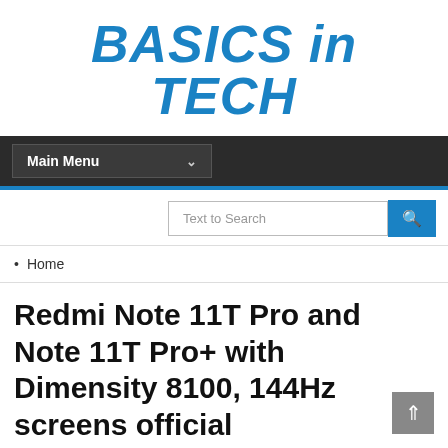BASICS in TECH
[Figure (screenshot): Navigation bar with Main Menu dropdown]
[Figure (screenshot): Search bar with Text to Search placeholder and blue search button]
Home
Redmi Note 11T Pro and Note 11T Pro+ with Dimensity 8100, 144Hz screens official
Caleb Olayiwola   May 25, 2022